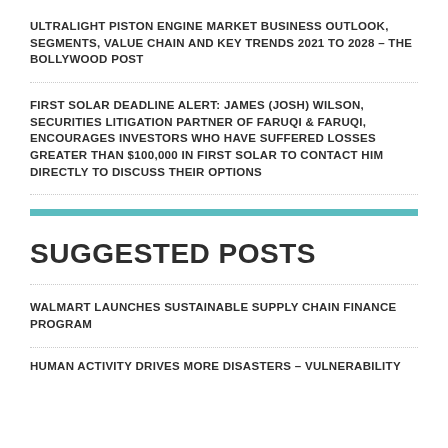ULTRALIGHT PISTON ENGINE MARKET BUSINESS OUTLOOK, SEGMENTS, VALUE CHAIN AND KEY TRENDS 2021 TO 2028 – THE BOLLYWOOD POST
FIRST SOLAR DEADLINE ALERT: JAMES (JOSH) WILSON, SECURITIES LITIGATION PARTNER OF FARUQI & FARUQI, ENCOURAGES INVESTORS WHO HAVE SUFFERED LOSSES GREATER THAN $100,000 IN FIRST SOLAR TO CONTACT HIM DIRECTLY TO DISCUSS THEIR OPTIONS
SUGGESTED POSTS
WALMART LAUNCHES SUSTAINABLE SUPPLY CHAIN FINANCE PROGRAM
HUMAN ACTIVITY DRIVES MORE DISASTERS – VULNERABILITY